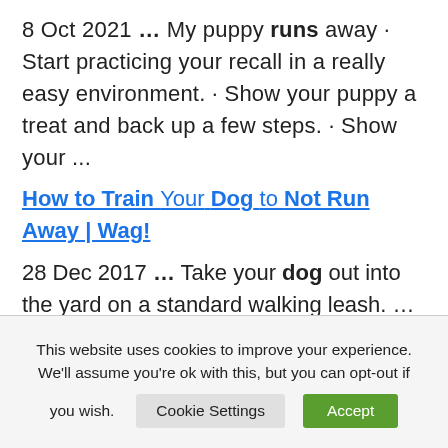8 Oct 2021 … My puppy runs away · Start practicing your recall in a really easy environment. · Show your puppy a treat and back up a few steps. · Show your ...
How to Train Your Dog to Not Run Away | Wag!
28 Dec 2017 … Take your dog out into the yard on a standard walking leash. … Back away 2 or 3 feet from
This website uses cookies to improve your experience. We'll assume you're ok with this, but you can opt-out if you wish. [Cookie Settings] [Accept]